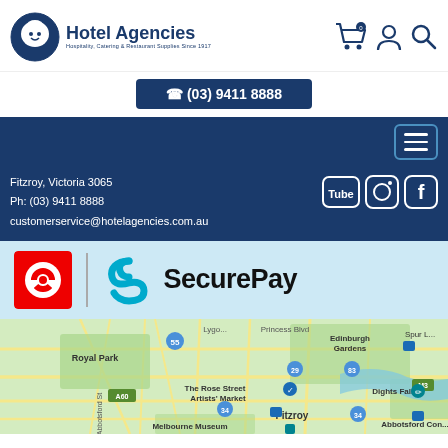[Figure (logo): Hotel Agencies logo with chef character icon and text 'Hotel Agencies — Hospitality, Catering & Restaurant Supplies Since 1917']
[Figure (other): Shopping cart with '0', user account icon, and search icon]
(03) 9411 8888
[Figure (other): Hamburger menu button (three horizontal lines) with teal border on dark navy background]
Fitzroy, Victoria 3065
Ph: (03) 9411 8888
customerservice@hotelagencies.com.au
[Figure (other): Social media icons: YouTube, Instagram, Facebook on dark navy background]
[Figure (logo): Australia Post logo (red square with white circular arrow icon) and SecurePay logo (teal swirl S icon with 'SecurePay' text)]
[Figure (map): Google Maps view centered on Fitzroy, Victoria showing surrounding Melbourne suburbs including Royal Park, Edinburgh Gardens, Dights Falls, Melbourne Museum, The Rose Street Artists' Market, and Abbotsford]